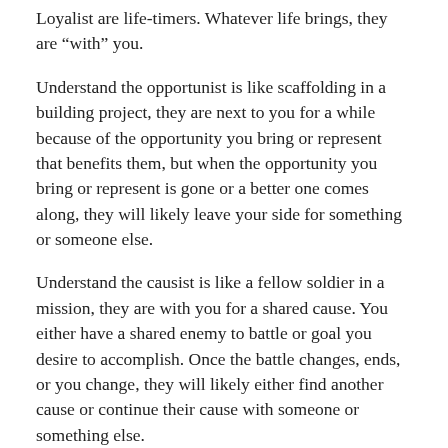Loyalist are life-timers. Whatever life brings, they are “with” you.
Understand the opportunist is like scaffolding in a building project, they are next to you for a while because of the opportunity you bring or represent that benefits them, but when the opportunity you bring or represent is gone or a better one comes along, they will likely leave your side for something or someone else.
Understand the causist is like a fellow soldier in a mission, they are with you for a shared cause. You either have a shared enemy to battle or goal you desire to accomplish. Once the battle changes, ends, or you change, they will likely either find another cause or continue their cause with someone or something else.
Understand the loyalist is with you no matter what.
To help with disappointment, don’t confuse the